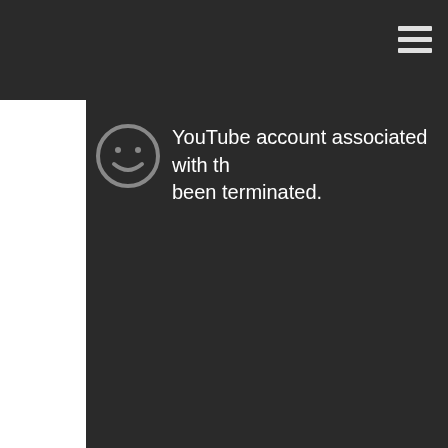[Figure (screenshot): YouTube account terminated error screen showing a sad face icon and text: 'YouTube account associated with th... been terminated.']
It's hard to nail down the direction they're taking the quality of the footage.
Read More
Dragon Ball Z: Battle of Gods Review
Submitted by: Penguin Truth